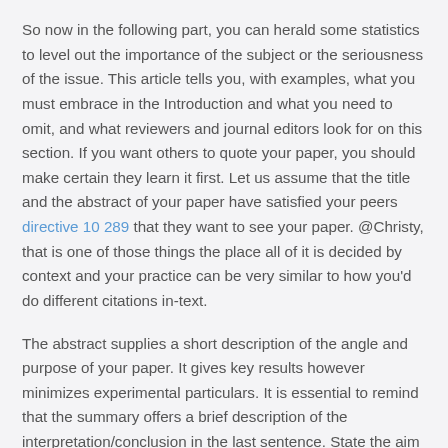So now in the following part, you can herald some statistics to level out the importance of the subject or the seriousness of the issue. This article tells you, with examples, what you must embrace in the Introduction and what you need to omit, and what reviewers and journal editors look for on this section. If you want others to quote your paper, you should make certain they learn it first. Let us assume that the title and the abstract of your paper have satisfied your peers directive 10 289 that they want to see your paper. @Christy, that is one of those things the place all of it is decided by context and your practice can be very similar to how you'd do different citations in-text.
The abstract supplies a short description of the angle and purpose of your paper. It gives key results however minimizes experimental particulars. It is essential to remind that the summary offers a brief description of the interpretation/conclusion in the last sentence. State the aim of the paper and analysis strategy adopted to reply the question, but